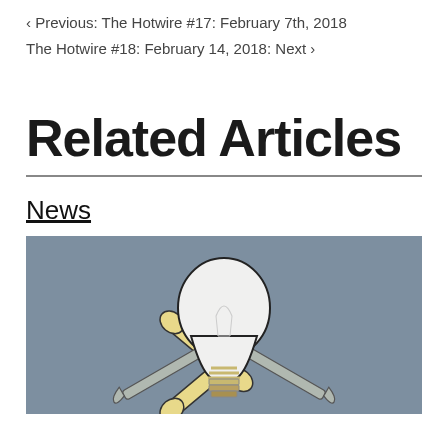‹ Previous: The Hotwire #17: February 7th, 2018
The Hotwire #18: February 14, 2018: Next ›
Related Articles
News
[Figure (illustration): Illustration of a light bulb with crossed bones and wrenches on a grey-blue background, styled as a skull-and-crossbones symbol]